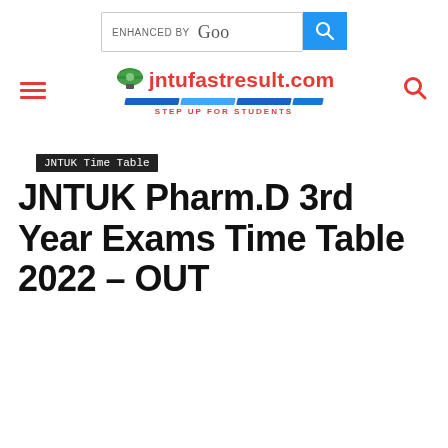[Figure (screenshot): Google search bar with 'ENHANCED BY Goo' text and blue search button with magnifier icon]
[Figure (logo): jntufastresult.com website logo with graduation cap icon, red text, blue stripe underline, and tagline STEP UP FOR STUDENTS]
JNTUK Time Table
JNTUK Pharm.D 3rd Year Exams Time Table 2022 – OUT